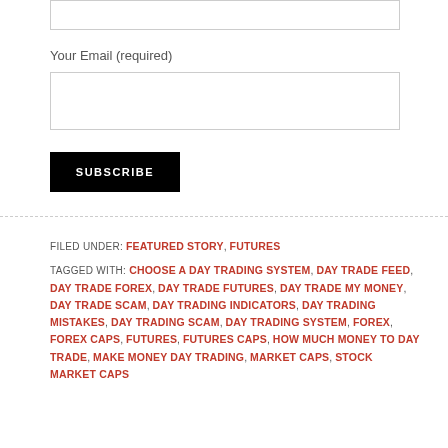Your Email (required)
SUBSCRIBE
FILED UNDER: FEATURED STORY, FUTURES
TAGGED WITH: CHOOSE A DAY TRADING SYSTEM, DAY TRADE FEED, DAY TRADE FOREX, DAY TRADE FUTURES, DAY TRADE MY MONEY, DAY TRADE SCAM, DAY TRADING INDICATORS, DAY TRADING MISTAKES, DAY TRADING SCAM, DAY TRADING SYSTEM, FOREX, FOREX CAPS, FUTURES, FUTURES CAPS, HOW MUCH MONEY TO DAY TRADE, MAKE MONEY DAY TRADING, MARKET CAPS, STOCK MARKET CAPS